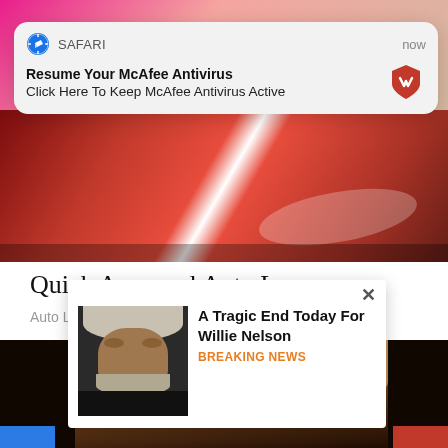[Figure (screenshot): Safari browser push notification popup overlaid on webpage. Notification reads: SAFARI / now / Resume Your McAfee Antivirus / Click Here To Keep McAfee Antivirus Active, with McAfee red shield logo]
[Figure (photo): Red car close-up photo]
Quick Approval Auto Loans
Auto Loans – Search Ads
[Figure (photo): Close-up photo of a young woman's face with dark hair and prominent eyebrows]
[Figure (screenshot): Pop-up ad card with X close button showing an older man (Willie Nelson) with headline 'A Tragic End Today For Willie Nelson' and tag 'Breaking News']